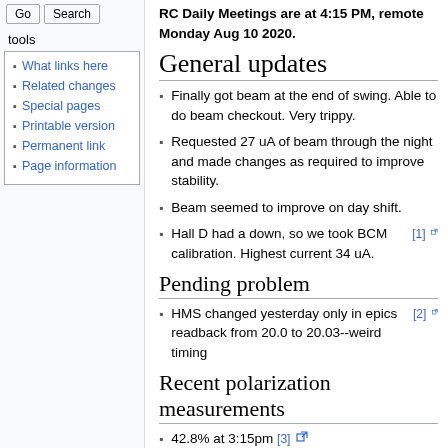What links here
Related changes
Special pages
Printable version
Permanent link
Page information
RC Daily Meetings are at 4:15 PM, remote Monday Aug 10 2020.
General updates
Finally got beam at the end of swing. Able to do beam checkout. Very trippy.
Requested 27 uA of beam through the night and made changes as required to improve stability.
Beam seemed to improve on day shift.
Hall D had a down, so we took BCM calibration. Highest current 34 uA. [1]
Pending problem
HMS changed yesterday only in epics readback from 20.0 to 20.03--weird timing [2]
Recent polarization measurements
42.8% at 3:15pm [3]